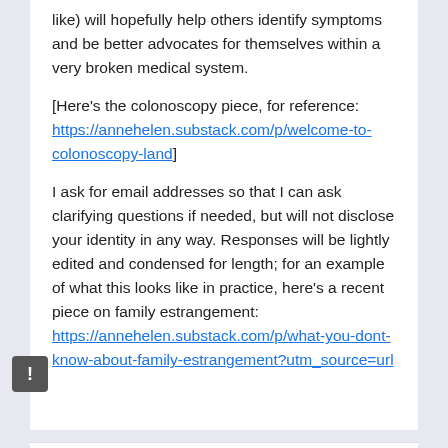like) will hopefully help others identify symptoms and be better advocates for themselves within a very broken medical system.
[Here's the colonoscopy piece, for reference: https://annehelen.substack.com/p/welcome-to-colonoscopy-land]
I ask for email addresses so that I can ask clarifying questions if needed, but will not disclose your identity in any way. Responses will be lightly edited and condensed for length; for an example of what this looks like in practice, here's a recent piece on family estrangement: https://annehelen.substack.com/p/what-you-dont-know-about-family-estrangement?utm_source=url
Sign in to Google to save your progress. Learn more
* Required